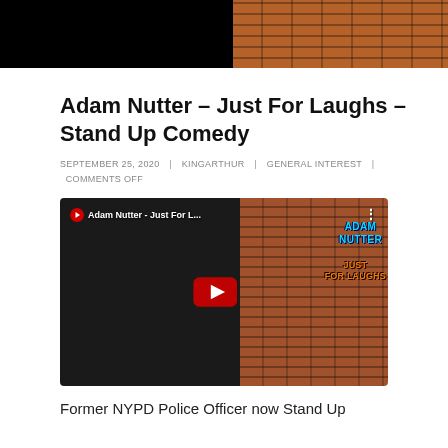[Figure (screenshot): Top banner image showing a person against dark background on the left and a brick wall on the right]
Adam Nutter – Just For Laughs – Stand Up Comedy
SEPTEMBER 25, 2020  |  KINGARTHUR  |  GENERAL INTEREST  |  COMMENTS OFF
[Figure (screenshot): YouTube video thumbnail showing Adam Nutter - Just For L... with red play button, comedian on left side and brick wall with colorful ADAM NUTTER / JUST FOR LAUGHS text on right side]
Former NYPD Police Officer now Stand Up